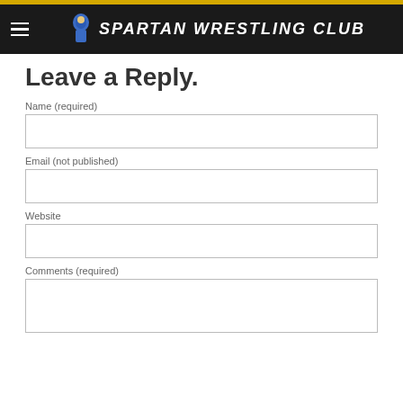SPARTAN WRESTLING CLUB
Leave a Reply.
Name (required)
Email (not published)
Website
Comments (required)